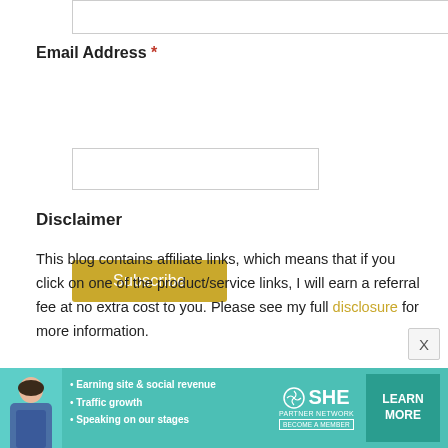[Figure (other): Text input box at top of page (partially visible)]
Email Address *
[Figure (other): Email address text input box]
[Figure (other): Subscribe button (gold/yellow color)]
Disclaimer
This blog contains affiliate links, which means that if you click on one of the product/service links, I will earn a referral fee at no extra cost to you. Please see my full disclosure for more information.
[Figure (infographic): SHE Partner Network advertisement banner at bottom with woman photo, bullet points: Earning site & social revenue, Traffic growth, Speaking on our stages, SHE logo, LEARN MORE button]